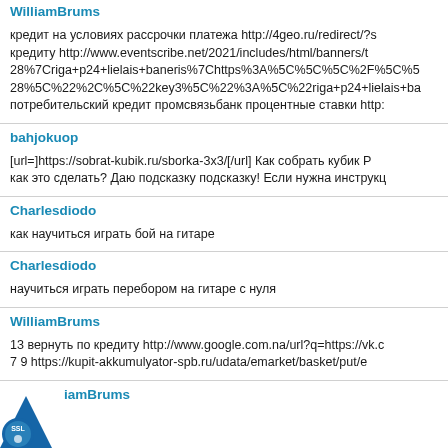WilliamBrums
кредит на условиях рассрочки платежа http://4geo.ru/redirect/?s кредиту http://www.eventscribe.net/2021/includes/html/banners/t 28%7Criga+p24+lielais+baneris%7Chttps%3A%5C%5C%5C%2F%5C%5 28%5C%22%2C%5C%22key3%5C%22%3A%5C%22riga+p24+lielais+ba потребительский кредит промсвязьбанк процентные ставки http:
bahjokuop
[url=]https://sobrat-kubik.ru/sborka-3x3/[/url] Как собрать кубик Р как это сделать? Даю подсказку подсказку! Если нужна инструкц
Charlesdiodo
как научиться играть бой на гитаре
Charlesdiodo
научиться играть перебором на гитаре с нуля
WilliamBrums
13 вернуть по кредиту http://www.google.com.na/url?q=https://vk.c 7 9 https://kupit-akkumulyator-spb.ru/udata/emarket/basket/put/e
WilliamBrums